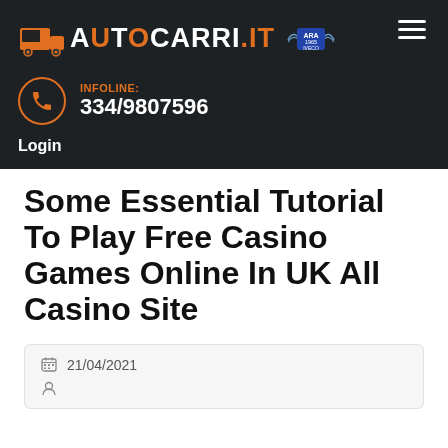[Figure (logo): Autocarri.it logo with truck icon and ARA 1965 IVECO badge on dark background]
INFOLINE: 334/9807596
Login
Some Essential Tutorial To Play Free Casino Games Online In UK All Casino Site
21/04/2021